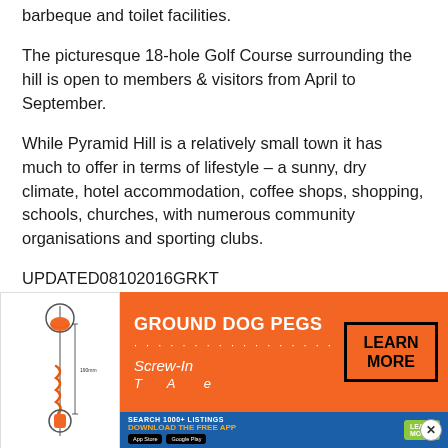barbeque and toilet facilities.
The picturesque 18-hole Golf Course surrounding the hill is open to members & visitors from April to September.
While Pyramid Hill is a relatively small town it has much to offer in terms of lifestyle – a sunny, dry climate, hotel accommodation, coffee shops, shopping, schools, churches, with numerous community organisations and sporting clubs.
UPDATED08102016GRKT
[Figure (advertisement): Advertisement banner for Ground Dog Pegs showing a screw-in peg product illustration on the left and orange ad panel with 'GROUND DOG PEGS Screw-In' text and 'LEARN MORE' button, with a blue app download strip at bottom.]